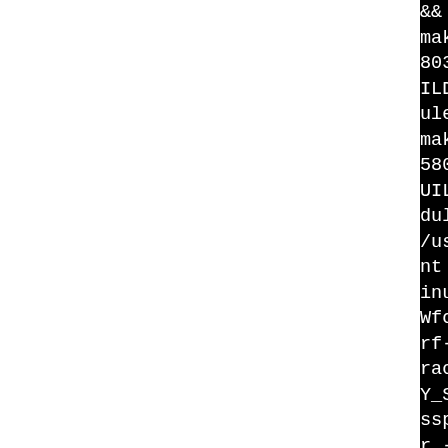[Figure (screenshot): Terminal/build log output on black background showing make build commands and compiler flags for httpd-2.2.29 SSL module compilation]